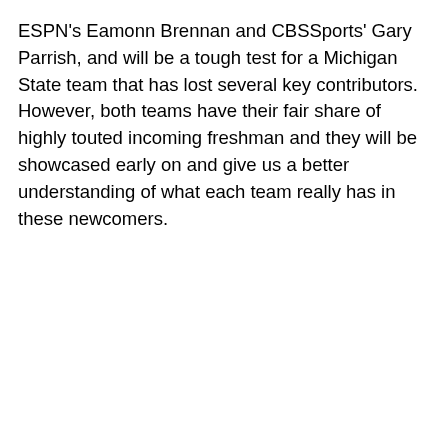ESPN's Eamonn Brennan and CBSSports' Gary Parrish, and will be a tough test for a Michigan State team that has lost several key contributors. However, both teams have their fair share of highly touted incoming freshman and they will be showcased early on and give us a better understanding of what each team really has in these newcomers.